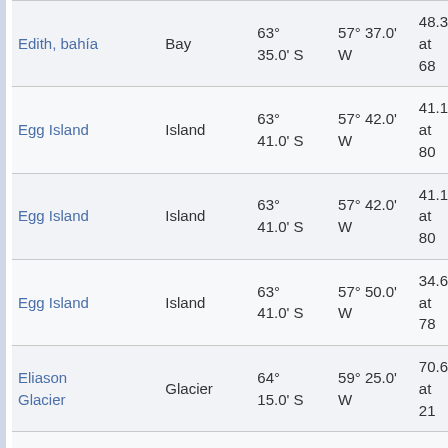| Name | Type | Latitude | Longitude | Other |
| --- | --- | --- | --- | --- |
| Edith, bahía | Bay | 63° 35.0' S | 57° 37.0' W | 48.3 at 68 |
| Egg Island | Island | 63° 41.0' S | 57° 42.0' W | 41.1 at 80 |
| Egg Island | Island | 63° 41.0' S | 57° 42.0' W | 41.1 at 80 |
| Egg Island | Island | 63° 41.0' S | 57° 50.0' W | 34.6 at 78 |
| Eliason Glacier | Glacier | 64° 15.0' S | 59° 25.0' W | 70.6 at 21 |
| Eliason Glacier | Glacier | 64° 13.0' S | 59° 29.0' W | 69.9 at 22 |
| Eneas, Cerro | Peak | 63° 45.0' S | 58° 27.0' W | 3.4 k 86° |
| Eremiya Hill |  | 63° 32.7' S | 58° 37.8' W | 23.6 at 3 |